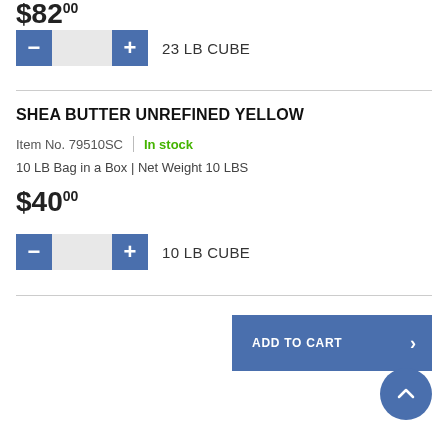$82.00
- [input] + 23 LB CUBE
SHEA BUTTER UNREFINED YELLOW
Item No. 79510SC | In stock
10 LB Bag in a Box | Net Weight 10 LBS
$40.00
- [input] + 10 LB CUBE
ADD TO CART